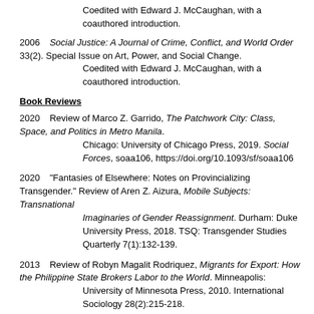Coedited with Edward J. McCaughan, with a coauthored introduction.
2006    Social Justice: A Journal of Crime, Conflict, and World Order 33(2). Special Issue on Art, Power, and Social Change. Coedited with Edward J. McCaughan, with a coauthored introduction.
Book Reviews
2020    Review of Marco Z. Garrido, The Patchwork City: Class, Space, and Politics in Metro Manila. Chicago: University of Chicago Press, 2019. Social Forces, soaa106, https://doi.org/10.1093/sf/soaa106
2020    "Fantasies of Elsewhere: Notes on Provincializing Transgender." Review of Aren Z. Aizura, Mobile Subjects: Transnational Imaginaries of Gender Reassignment. Durham: Duke University Press, 2018. TSQ: Transgender Studies Quarterly 7(1):132-139.
2013    Review of Robyn Magalit Rodriquez, Migrants for Export: How the Philippine State Brokers Labor to the World. Minneapolis: University of Minnesota Press, 2010. International Sociology 28(2):215-218.